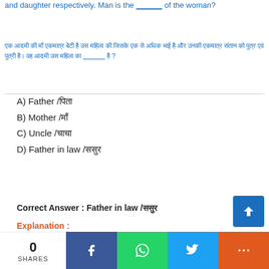and daughter respectively. Man is the _____ of the woman?
एक आदमी की माँ एकमात्र बेटी है उस महिला की जिसके एक से अधिक भाई है और उनकी एकमात्र संतान को पुत्र एवं पुत्री है। वह आदमी उस महिला का _____ है ?
A) Father /पिता
B) Mother /माँ
C) Uncle /चाचा
D) Father in law /ससुर
Correct Answer : Father in law /ससुर
Explanation :
[Figure (flowchart): Diamond-shaped relationship diagram showing: Man's mother in law at top, Man on left, Woman's mother in law on right, Father in law at bottom-left, Wife box in center, Daughter box on upper-right, Woman label at bottom. Arrows connect the nodes.]